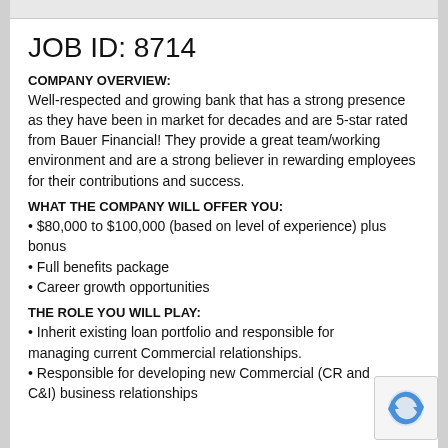JOB ID: 8714
COMPANY OVERVIEW:
Well-respected and growing bank that has a strong presence as they have been in market for decades and are 5-star rated from Bauer Financial! They provide a great team/working environment and are a strong believer in rewarding employees for their contributions and success.
WHAT THE COMPANY WILL OFFER YOU:
• $80,000 to $100,000 (based on level of experience) plus bonus
• Full benefits package
• Career growth opportunities
THE ROLE YOU WILL PLAY:
• Inherit existing loan portfolio and responsible for managing current Commercial relationships.
• Responsible for developing new Commercial (CR and C&I) business relationships